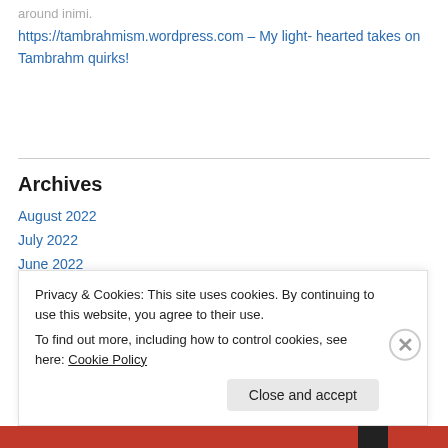https://tambrahmism.wordpress.com – My light- hearted takes on Tambrahm quirks!
Archives
August 2022
July 2022
June 2022
Privacy & Cookies: This site uses cookies. By continuing to use this website, you agree to their use.
To find out more, including how to control cookies, see here: Cookie Policy
Close and accept